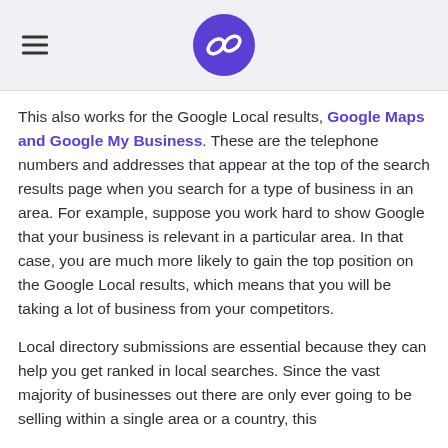[Logo: chain link icon in purple circle, hamburger menu icon]
This also works for the Google Local results, Google Maps and Google My Business. These are the telephone numbers and addresses that appear at the top of the search results page when you search for a type of business in an area. For example, suppose you work hard to show Google that your business is relevant in a particular area. In that case, you are much more likely to gain the top position on the Google Local results, which means that you will be taking a lot of business from your competitors.
Local directory submissions are essential because they can help you get ranked in local searches. Since the vast majority of businesses out there are only ever going to be selling within a single area or a country, this